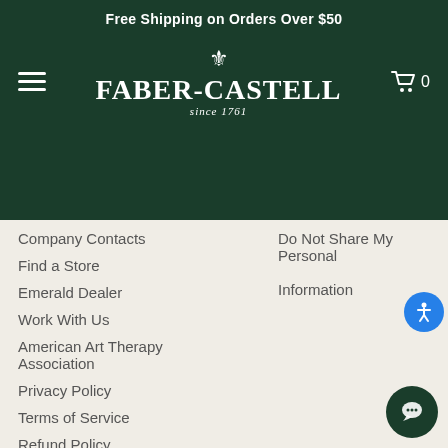Free Shipping on Orders Over $50
[Figure (logo): Faber-Castell logo with knight crest and 'since 1761' tagline on dark green header]
Company Contacts
Find a Store
Emerald Dealer
Work With Us
American Art Therapy Association
Privacy Policy
Terms of Service
Refund Policy
Shipping Policy
Accessibility Statement
Do Not Share My Personal Information